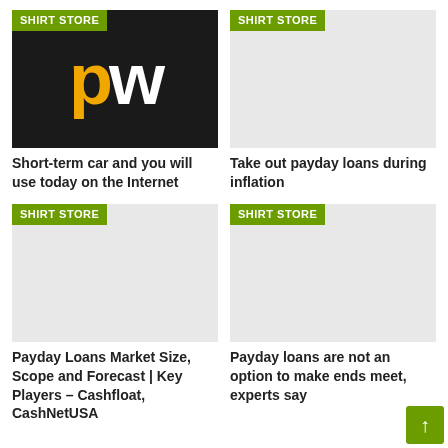[Figure (logo): PW logo on black background with yellow 'p' and white 'w']
[Figure (other): Placeholder image with SHIRT STORE badge, light gray background]
Short-term car and you will use today on the Internet
Take out payday loans during inflation
[Figure (other): Placeholder image with SHIRT STORE badge, light gray background]
[Figure (other): Placeholder image with SHIRT STORE badge, light gray background]
Payday Loans Market Size, Scope and Forecast | Key Players – Cashfloat, CashNetUSA
Payday loans are not an option to make ends meet, experts say